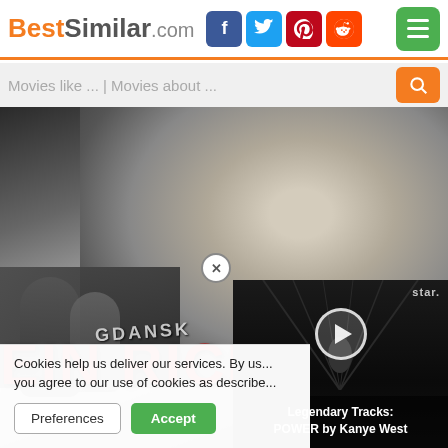BestSimilar.com
Movies like ... | Movies about ...
[Figure (screenshot): Black and white movie poster showing a close-up of a man's face with people in the background holding a GDANSK sign, and red German text 'EIN RICHTER' at the bottom]
Cookies help us deliver our services. By us... you agree to our use of cookies as describe...
Preferences  Accept
[Figure (screenshot): Video overlay showing dark corridor with play button and text 'Legendary Tracks: POWER by Kanye West']